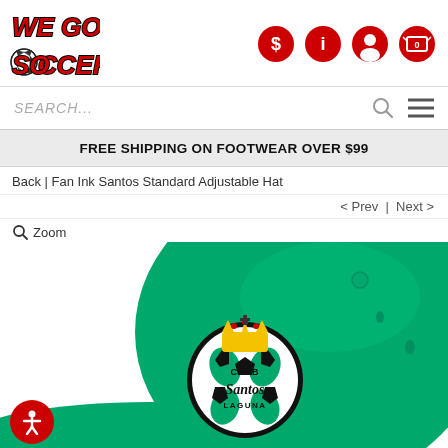[Figure (logo): WeGotSoccer logo with soccer ball graphic and red italic bold text]
[Figure (infographic): Navigation icons: dollar sign badge, info badge, user account icon, shopping cart with 0 badge]
SEARCH...
FREE SHIPPING ON FOOTWEAR OVER $99
Back | Fan Ink Santos Standard Adjustable Hat
< Prev  |  Next >
Zoom
[Figure (photo): Green Club Santos Laguna adjustable cap with embroidered team crest showing soccer ball with crown and text CLUB Santos LAGUNA]